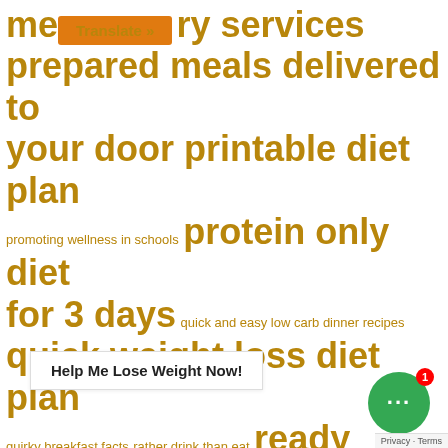me[Translate »]ry services prepared meals delivered to your door printable diet plan promoting wellness in schools protein only diet for 3 days quick and easy low carb dinner recipes quick weight loss diet plan quirky breakfast facts rather drink than eat ready made bodybuilding meals ready to eat healthy meals ready to eat meals delivery restaurant rotational crunch sample atkins menu satisfying 1200 calorie diet
[Figure (other): Chat support bubble icon with green circle and notification badge showing 1]
Help Me Lose Weight Now!
Privacy · Terms